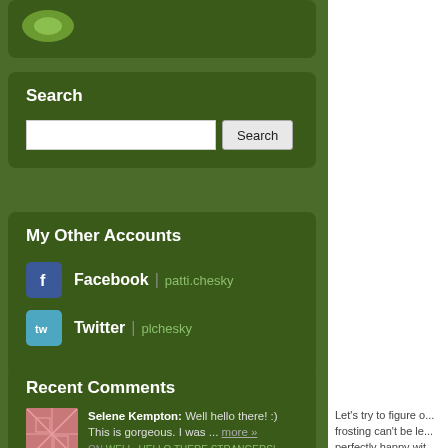[Figure (logo): Partial green card with a leaf/avocado logo at top]
Search
Search input box and button
My Other Accounts
Facebook | patti.chesky
Twitter | plchesky
Recent Comments
Selene Kempton: Well hello there! :) This is gorgeous. I was ... more »
ON WELL, HELLO THERE STRANGERS!
Let's try to figure o... frosting can't be le... perfectly happy wit... shake on a few spr...